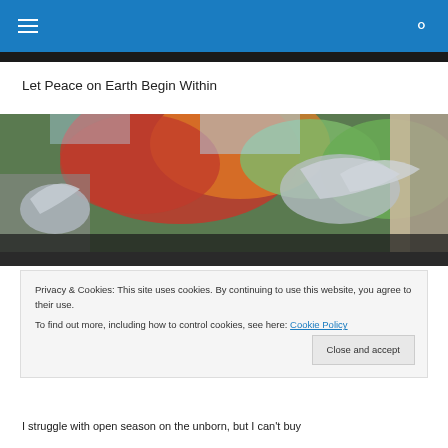Navigation bar with hamburger menu and search icon
Let Peace on Earth Begin Within
[Figure (photo): Outdoor autumn scene with red-leafed trees visible through a window or doorway, with silver/metallic angel or bird sculptures in the foreground]
Privacy & Cookies: This site uses cookies. By continuing to use this website, you agree to their use.
To find out more, including how to control cookies, see here: Cookie Policy
The Paradox of Doing Evil in the Name of Good
I struggle with open season on the unborn, but I can't buy